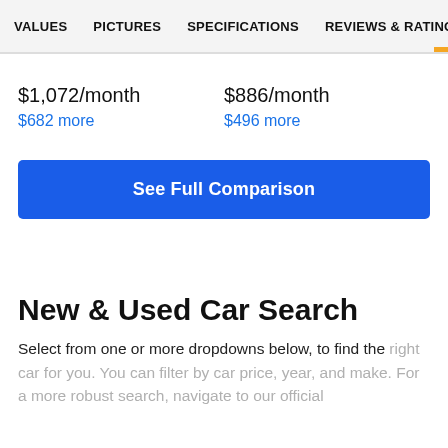VALUES   PICTURES   SPECIFICATIONS   REVIEWS & RATINGS
$1,072/month
$682 more
$886/month
$496 more
See Full Comparison
New & Used Car Search
Select from one or more dropdowns below, to find the right car for you. You can filter by car price, year, and make. For a more robust search, navigate to our official